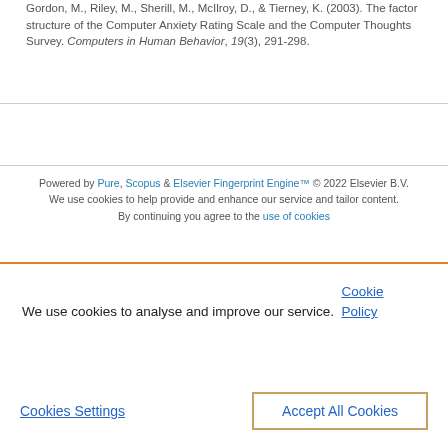Gordon, M., Riley, M., Sherill, M., McIlroy, D., & Tierney, K. (2003). The factor structure of the Computer Anxiety Rating Scale and the Computer Thoughts Survey. Computers in Human Behavior, 19(3), 291-298.
Powered by Pure, Scopus & Elsevier Fingerprint Engine™ © 2022 Elsevier B.V.
We use cookies to help provide and enhance our service and tailor content. By continuing you agree to the use of cookies
We use cookies to analyse and improve our service. Cookie Policy
Cookies Settings | Accept All Cookies